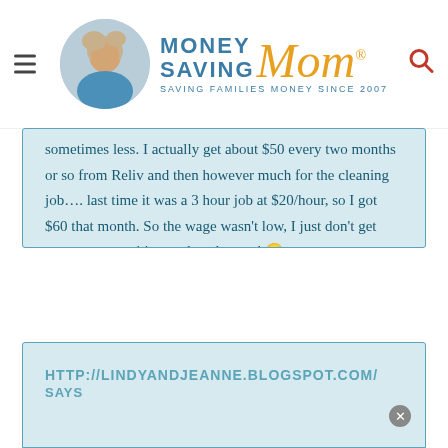[Figure (logo): Money Saving Mom logo with circular photo of woman, teal MONEY SAVING text, gold cursive Mom text, and tagline SAVING FAMILIES MONEY SINCE 2007]
sometimes less. I actually get about $50 every two months or so from Reliv and then however much for the cleaning job…. last time it was a 3 hour job at $20/hour, so I got $60 that month. So the wage wasn't low, I just don't get many opportunities to clean houses! 🙂

Thanks for your encouragement!!
HTTP://LINDYANDJEANNE.BLOGSPOT.COM/
SAYS